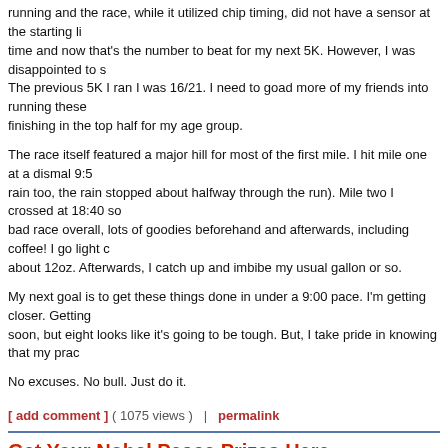running and the race, while it utilized chip timing, did not have a sensor at the starting line and the time and now that's the number to beat for my next 5K. However, I was disappointed to see The previous 5K I ran I was 16/21. I need to goad more of my friends into running these finishing in the top half for my age group.
The race itself featured a major hill for most of the first mile. I hit mile one at a dismal 9:5 rain too, the rain stopped about halfway through the run). Mile two I crossed at 18:40 so bad race overall, lots of goodies beforehand and afterwards, including coffee! I go light c about 12oz. Afterwards, I catch up and imbibe my usual gallon or so.
My next goal is to get these things done in under a 9:00 pace. I'm getting closer. Getting soon, but eight looks like it's going to be tough. But, I take pride in knowing that my prac
No excuses. No bull. Just do it.
[ add comment ] ( 1075 views )   |   permalink
Get Your Nobel Peace Prizes Here
Saturday, October 10, 2009, 12:40 - general
Posted by Brian
[Figure (photo): A blue portable toilet (BBB Portable Toilets) standing outdoors among autumn trees with fallen leaves on the ground.]